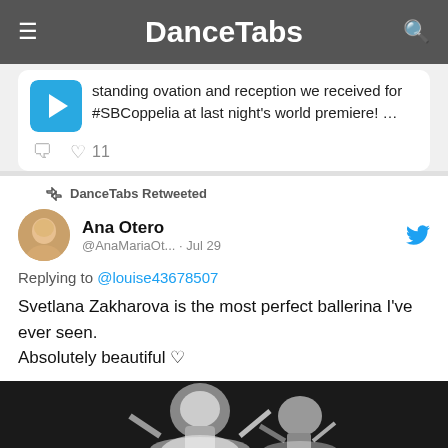DanceTabs
standing ovation and reception we received for #SBCoppelia at last night's world premiere! …
11
DanceTabs Retweeted
Ana Otero @AnaMariaOt... · Jul 29
Replying to @louise43678507
Svetlana Zakharova is the most perfect ballerina I've ever seen.
Absolutely beautiful ♡
[Figure (photo): Black and white photo of a ballerina performing]